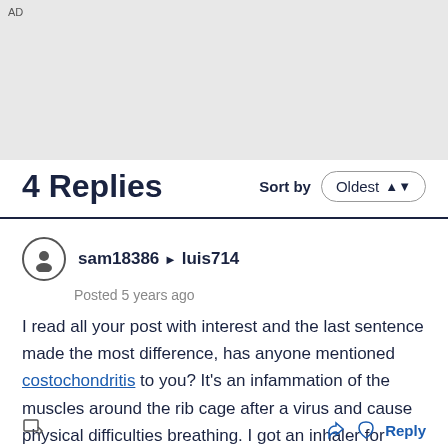AD
4 Replies
Sort by  Oldest
sam18386 ▶ luis714
Posted 5 years ago
I read all your post with interest and the last sentence made the most difference, has anyone mentioned costochondritis to you? It's an infammation of the muscles around the rib cage after a virus and cause physical difficulties breathing. I got an inhaler for mine. Go back and ask if it is. Good luck.